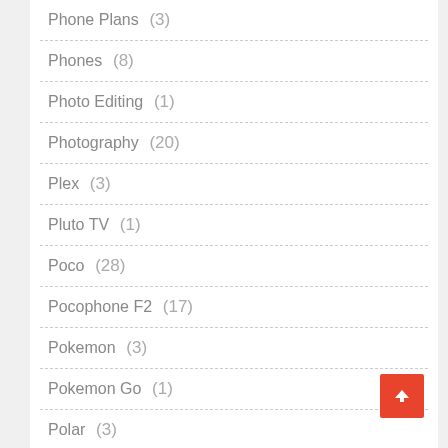Phone Plans (3)
Phones (8)
Photo Editing (1)
Photography (20)
Plex (3)
Pluto TV (1)
Poco (28)
Pocophone F2 (17)
Pokemon (3)
Pokemon Go (1)
Polar (3)
Privacy (14)
Productivity (1)